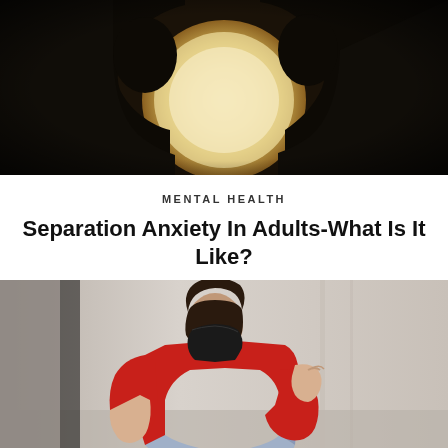[Figure (photo): Dark silhouette photo of two people facing each other through a circular window or portal, with bright light behind them creating a dramatic backlit scene. One figure appears to be inside a vehicle looking out.]
MENTAL HEALTH
Separation Anxiety In Adults-What Is It Like?
[Figure (photo): Person wearing a red long-sleeve top and black face mask, sitting hunched over with knees up, touching their shoulder/neck with one hand, appearing distressed. Background is a blurred outdoor urban setting with pavement.]